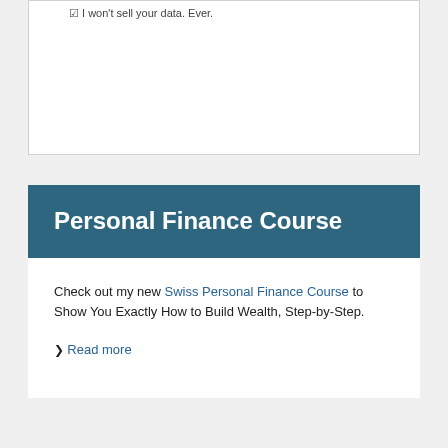☑ I won't sell your data. Ever.
Personal Finance Course
Check out my new Swiss Personal Finance Course to Show You Exactly How to Build Wealth, Step-by-Step.
❯ Read more